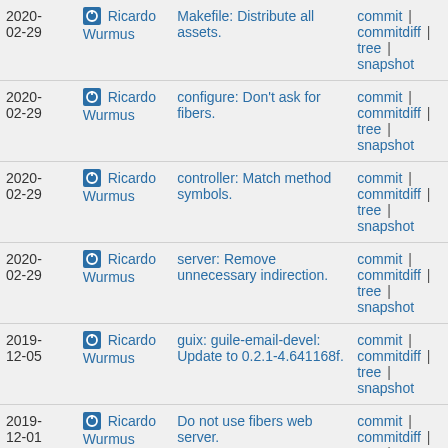| Date | Author | Message | Links |
| --- | --- | --- | --- |
| 2020-02-29 | Ricardo Wurmus | Makefile: Distribute all assets. | commit | commitdiff | tree | snapshot |
| 2020-02-29 | Ricardo Wurmus | configure: Don't ask for fibers. | commit | commitdiff | tree | snapshot |
| 2020-02-29 | Ricardo Wurmus | controller: Match method symbols. | commit | commitdiff | tree | snapshot |
| 2020-02-29 | Ricardo Wurmus | server: Remove unnecessary indirection. | commit | commitdiff | tree | snapshot |
| 2019-12-05 | Ricardo Wurmus | guix: guile-email-devel: Update to 0.2.1-4.641168f. | commit | commitdiff | tree | snapshot |
| 2019-12-01 | Ricardo Wurmus | Do not use fibers web server. | commit | commitdiff | tree | snapshot |
| 2019-12-01 | Ricardo Wurmus | guix: Use latest version of guile-email. | commit | commitdiff | tree | |